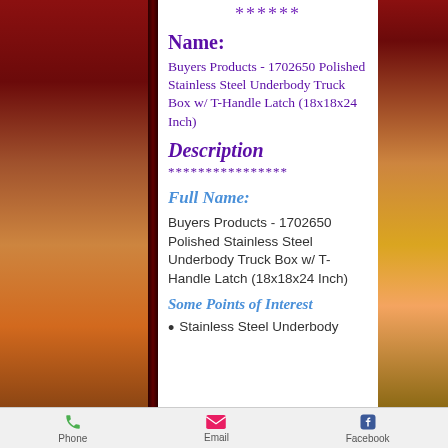******
Name:
Buyers Products - 1702650 Polished Stainless Steel Underbody Truck Box w/ T-Handle Latch (18x18x24 Inch)
Description
Full Name:
Buyers Products - 1702650 Polished Stainless Steel Underbody Truck Box w/ T-Handle Latch (18x18x24 Inch)
Some Points of Interest
Stainless Steel Underbody
Phone   Email   Facebook